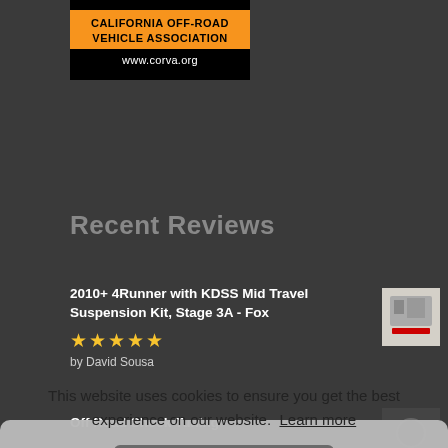[Figure (logo): California Off-Road Vehicle Association logo with orange header and www.corva.org URL]
Recent Reviews
2010+ 4Runner with KDSS Mid Travel Suspension Kit, Stage 3A - Fox
★★★★★
by David Sousa
[Figure (photo): Thumbnail image of suspension kit product]
Off Road Shock Tuning
★
by [partially visible]
[Figure (photo): Thumbnail image of shock tuning]
Off [partially visible]
★
by [partially visible]
This website uses cookies to ensure you get the best experience on our website. Learn more
Got it